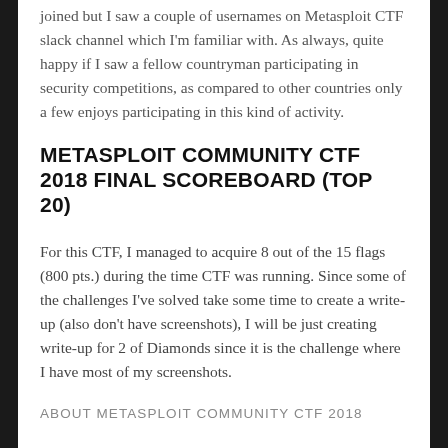joined but I saw a couple of usernames on Metasploit CTF slack channel which I'm familiar with. As always, quite happy if I saw a fellow countryman participating in security competitions, as compared to other countries only a few enjoys participating in this kind of activity.
METASPLOIT COMMUNITY CTF 2018 FINAL SCOREBOARD (TOP 20)
For this CTF, I managed to acquire 8 out of the 15 flags (800 pts.) during the time CTF was running. Since some of the challenges I've solved take some time to create a write-up (also don't have screenshots), I will be just creating write-up for 2 of Diamonds since it is the challenge where I have most of my screenshots.
ABOUT METASPLOIT COMMUNITY CTF 2018